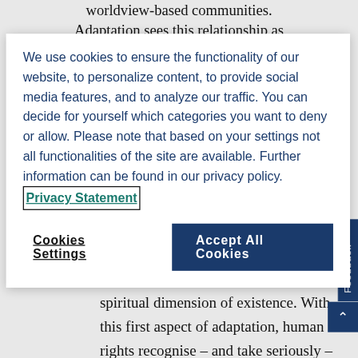worldview-based communities. Adaptation sees this relationship as
We use cookies to ensure the functionality of our website, to personalize content, to provide social media features, and to analyze our traffic. You can decide for yourself which categories you want to deny or allow. Please note that based on your settings not all functionalities of the site are available. Further information can be found in our privacy policy. Privacy Statement
Cookies Settings
Accept All Cookies
protecting all humans in their mental, religious, worldview-based, and spiritual dimension of existence. With this first aspect of adaptation, human rights recognise – and take seriously – religious and worldview-based communities as objects of their protection, but also as duty-bearers.